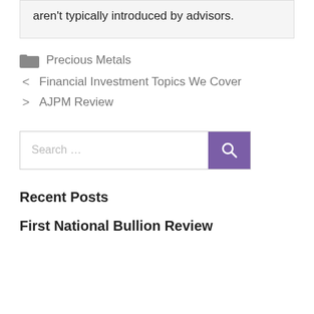aren't typically introduced by advisors.
Precious Metals
< Financial Investment Topics We Cover
> AJPM Review
[Figure (other): Search bar with text input 'Search ...' and purple search button with magnifying glass icon]
Recent Posts
First National Bullion Review